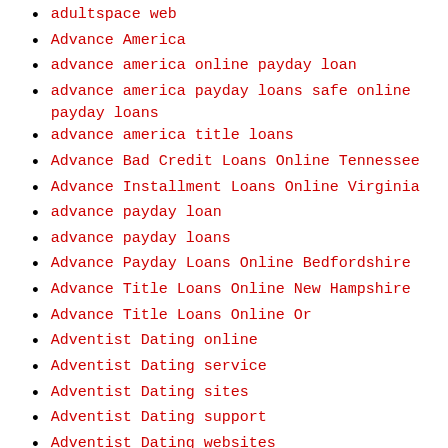adultspace web
Advance America
advance america online payday loan
advance america payday loans safe online payday loans
advance america title loans
Advance Bad Credit Loans Online Tennessee
Advance Installment Loans Online Virginia
advance payday loan
advance payday loans
Advance Payday Loans Online Bedfordshire
Advance Title Loans Online New Hampshire
Advance Title Loans Online Or
Adventist Dating online
Adventist Dating service
Adventist Dating sites
Adventist Dating support
Adventist Dating websites
adventist singles Anmelden
adventist singles bewertung
adventist singles dating
adventist singles entrar
adventist singles Na…